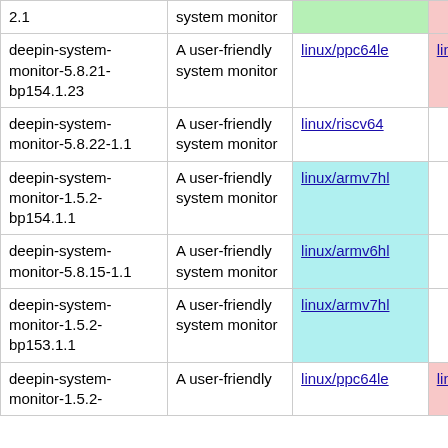| Package | Description | Col3 | Col4 | Col5 |
| --- | --- | --- | --- | --- |
| 2.1 | system monitor | linux/ppc64le (green) | linux/s390x (pink) | linux/aarc (cyan) |
| deepin-system-monitor-5.8.21-bp154.1.23 | A user-friendly system monitor | linux/ppc64le | linux/s390x (pink) | linux/aarc (cyan) |
| deepin-system-monitor-5.8.22-1.1 | A user-friendly system monitor | linux/riscv64 |  |  |
| deepin-system-monitor-1.5.2-bp154.1.1 | A user-friendly system monitor | linux/armv7hl (cyan) |  |  |
| deepin-system-monitor-5.8.15-1.1 | A user-friendly system monitor | linux/armv6hl (cyan) |  |  |
| deepin-system-monitor-1.5.2-bp153.1.1 | A user-friendly system monitor | linux/armv7hl (cyan) |  |  |
| deepin-system-monitor-1.5.2-... | A user-friendly | linux/ppc64le | linux/s390x (pink) | linux/s86 (green) |